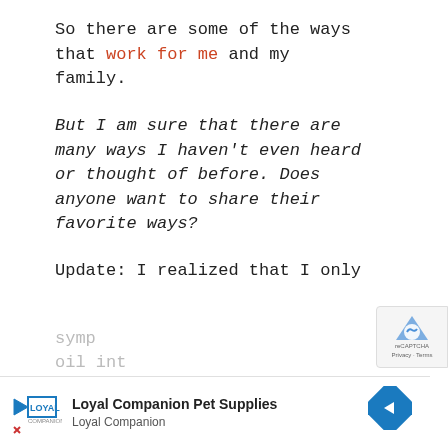So there are some of the ways that work for me and my family.
But I am sure that there are many ways I haven't even heard or thought of before. Does anyone want to share their favorite ways?
Update: I realized that I only had this warning in my post about using coconut oil for weight loss, but not here. Do very aware that coconut oil has been known to cause someone to start detoxing (a natural process the body undergoes to get rid of toxins). This could make some feel tired, flu like, or have othe
symp[toms...] oil int[o...]
[Figure (other): Loyal Companion Pet Supplies advertisement banner at bottom of page with logo, brand name, and navigation arrow diamond]